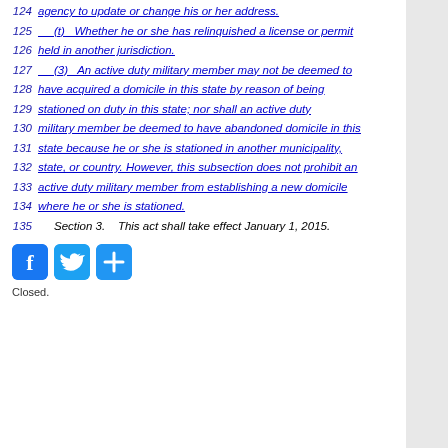124   agency to update or change his or her address.
125         (t)   Whether he or she has relinquished a license or permit
126   held in another jurisdiction.
127         (3)   An active duty military member may not be deemed to
128   have acquired a domicile in this state by reason of being
129   stationed on duty in this state; nor shall an active duty
130   military member be deemed to have abandoned domicile in this
131   state because he or she is stationed in another municipality,
132   state, or country. However, this subsection does not prohibit an
133   active duty military member from establishing a new domicile
134   where he or she is stationed.
135         Section 3.    This act shall take effect January 1, 2015.
[Figure (infographic): Social sharing icons: Facebook (blue), Twitter (blue), Share/Plus (blue)]
Closed.